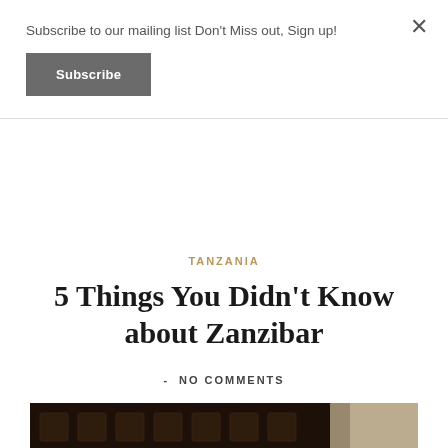Subscribe to our mailing list Don't Miss out, Sign up!
Subscribe
TANZANIA
5 Things You Didn't Know about Zanzibar
- NO COMMENTS
[Figure (photo): A young boy wearing an orange decorative hat, photographed against a dark wooden carved door background, with light visible to the right.]